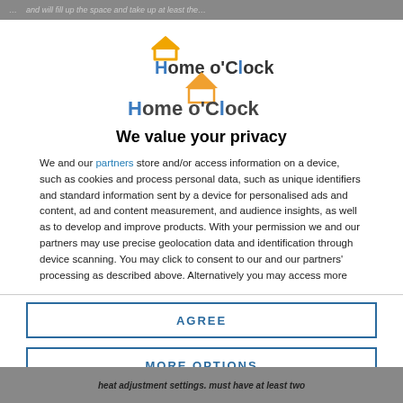…page header content partially visible…
[Figure (logo): Home o'Clock logo with orange roof/house icon above the text]
We value your privacy
We and our partners store and/or access information on a device, such as cookies and process personal data, such as unique identifiers and standard information sent by a device for personalised ads and content, ad and content measurement, and audience insights, as well as to develop and improve products. With your permission we and our partners may use precise geolocation data and identification through device scanning. You may click to consent to our and our partners' processing as described above. Alternatively you may access more detailed information and change your preferences before consenting
AGREE
MORE OPTIONS
heat adjustment settings. must have at least two